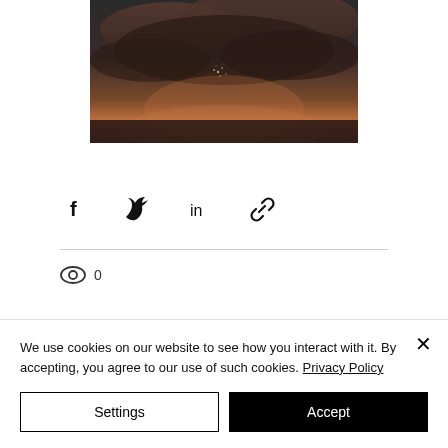[Figure (photo): Dark moody photo of clouds at sunset with warm orange/pink hues and dark tones]
[Figure (infographic): Social share icons row: Facebook (f), Twitter bird, LinkedIn (in), Link/chain icon]
0
We use cookies on our website to see how you interact with it. By accepting, you agree to our use of such cookies. Privacy Policy
Settings
Accept